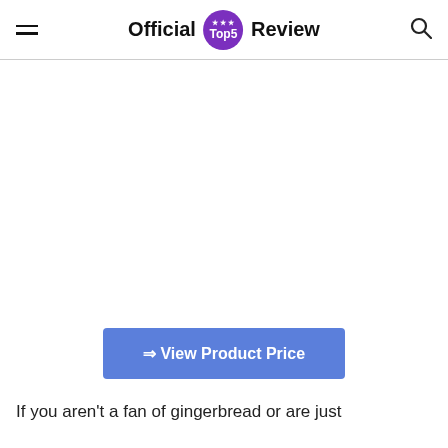Official Top5 Review
[Figure (other): Large blank white content area (image placeholder)]
⇒ View Product Price
If you aren't a fan of gingerbread or are just